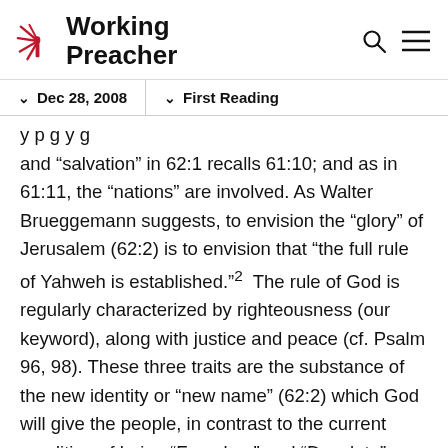Working Preacher
Dec 28, 2008   First Reading
and “salvation” in 62:1 recalls 61:10; and as in 61:11, the “nations” are involved. As Walter Brueggemann suggests, to envision the “glory” of Jerusalem (62:2) is to envision that “the full rule of Yahweh is established.”²  The rule of God is regularly characterized by righteousness (our keyword), along with justice and peace (cf. Psalm 96, 98). These three traits are the substance of the new identity or “new name” (62:2) which God will give the people, in contrast to the current condition of being “Forsaken” and “Desolate” (62:4).